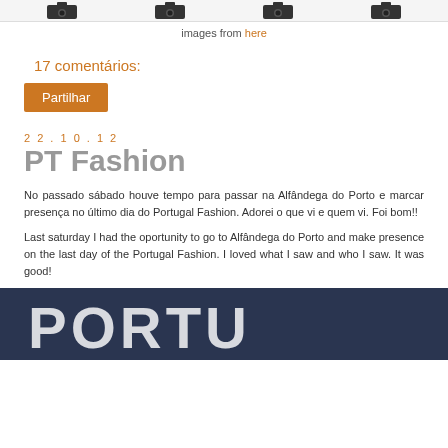[Figure (photo): Top strip showing camera/product images partially cropped at top]
images from here
17 comentários:
Partilhar
22.10.12
PT Fashion
No passado sábado houve tempo para passar na Alfândega do Porto e marcar presença no último dia do Portugal Fashion. Adorei o que vi e quem vi. Foi bom!!
Last saturday I had the oportunity to go to Alfândega do Porto and make presence on the last day of the Portugal Fashion. I loved what I saw and who I saw. It was good!
[Figure (photo): Photograph showing large white letters spelling PORTU[GAL] on a dark background — Portugal Fashion signage]